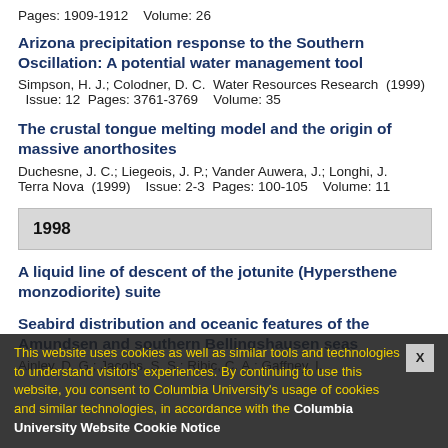Pages: 1909-1912    Volume: 26
Arizona precipitation response to the Southern Oscillation: A potential water management tool
Simpson, H. J.; Colodner, D. C.  Water Resources Research  (1999)  Issue: 12  Pages: 3761-3769    Volume: 35
The crustal tongue melting model and the origin of massive anorthosites
Duchesne, J. C.; Liegeois, J. P.; Vander Auwera, J.; Longhi, J.  Terra Nova  (1999)    Issue: 2-3  Pages: 100-105    Volume: 11
1998
A liquid line of descent of the jotunite (Hypersthene monzodiorite) suite
Seabird distribution and oceanic features of the Amundsen and southern Bellingshausen seas
Ainley, D. G.; Jacobs, S. S.; Ribic, C. A.; Gaffney, I.
This website uses cookies as well as similar tools and technologies to understand visitors' experiences. By continuing to use this website, you consent to Columbia University's usage of cookies and similar technologies, in accordance with the Columbia University Website Cookie Notice